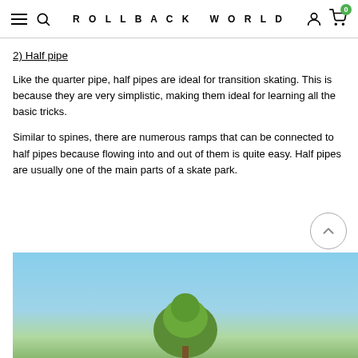ROLLBACK WORLD
2) Half pipe
Like the quarter pipe, half pipes are ideal for transition skating. This is because they are very simplistic, making them ideal for learning all the basic tricks.
Similar to spines, there are numerous ramps that can be connected to half pipes because flowing into and out of them is quite easy. Half pipes are usually one of the main parts of a skate park.
[Figure (photo): Outdoor photo showing a blue sky with trees visible at the bottom edge, likely showing a skate park environment]